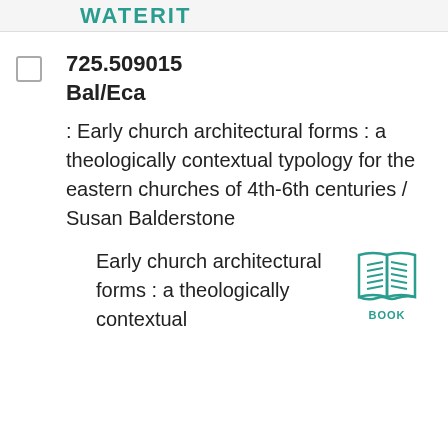WATERIT
725.509015
Bal/Eca
: Early church architectural forms : a theologically contextual typology for the eastern churches of 4th-6th centuries / Susan Balderstone
Early church architectural forms : a theologically contextual
[Figure (illustration): An open book icon rendered in teal/green color with horizontal lines representing text on pages, labeled BOOK below]